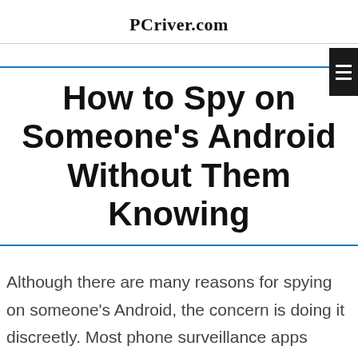PCriver.com
How to Spy on Someone's Android Without Them Knowing
Although there are many reasons for spying on someone's Android, the concern is doing it discreetly. Most phone surveillance apps promise to deliver such service but still require